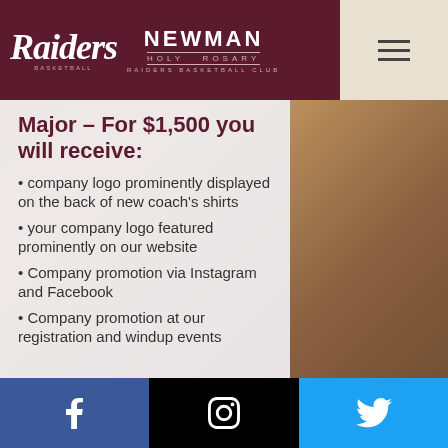[Figure (logo): Raiders Basketball and Newman Holy Rosary Raiders Basketball Club logo on dark maroon header bar]
Major – For $1,500 you will receive:
company logo prominently displayed on the back of new coach's shirts
your company logo featured prominently on our website
Company promotion via Instagram and Facebook
Company promotion at our registration and windup events
[Figure (infographic): Footer social media icons: Facebook (blue), Instagram (black), Twitter (light blue)]